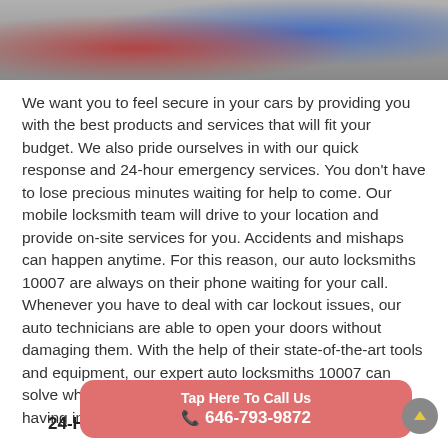[Figure (photo): Photo banner showing hands/people, locksmith-related scene with red and blue clothing]
We want you to feel secure in your cars by providing you with the best products and services that will fit your budget. We also pride ourselves in with our quick response and 24-hour emergency services. You don't have to lose precious minutes waiting for help to come. Our mobile locksmith team will drive to your location and provide on-site services for you. Accidents and mishaps can happen anytime. For this reason, our auto locksmiths 10007 are always on their phone waiting for your call. Whenever you have to deal with car lockout issues, our auto technicians are able to open your doors without damaging them. With the help of their state-of-the-art tools and equipment, our expert auto locksmiths 10007 can solve whatever lock or key-related issue you may be having in your car.
24-Hour Emergency Services
Tap Here To Call Us 646-793-9872